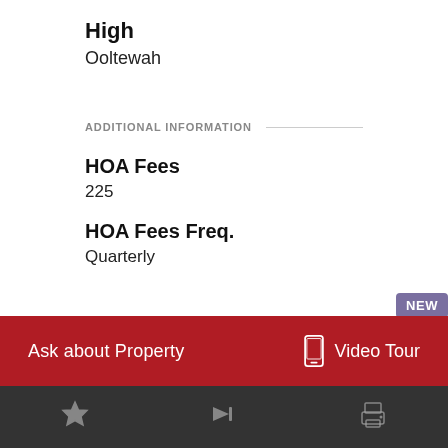High
Ooltewah
ADDITIONAL INFORMATION
HOA Fees
225
HOA Fees Freq.
Quarterly
PROPERTY HISTORY
Ask about Property
Video Tour
NEW